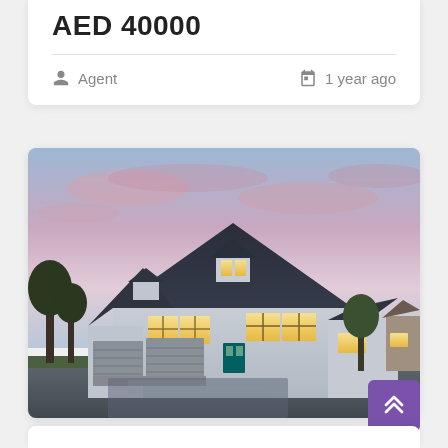AED 40000
Agent
1 year ago
[Figure (photo): Exterior photo of a two-story residential house with dark roof, two-car garage, lit windows at dusk with pink and blue sky]
[Figure (other): Purple scroll-to-top button with double chevron up arrow]